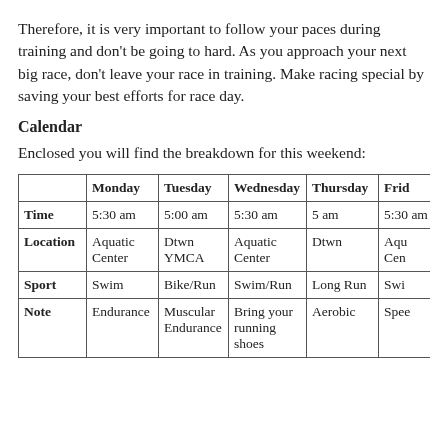Therefore, it is very important to follow your paces during training and don't be going to hard.  As you approach your next big race, don't leave your race in training.  Make racing special by saving your best efforts for race day.
Calendar
Enclosed you will find the breakdown for this weekend:
|  | Monday | Tuesday | Wednesday | Thursday | Frid… |
| --- | --- | --- | --- | --- | --- |
| Time | 5:30 am | 5:00 am | 5:30 am | 5 am | 5:30 am |
| Location | Aquatic Center | Dtwn YMCA | Aquatic Center | Dtwn | Aqu… Cen… |
| Sport | Swim | Bike/Run | Swim/Run | Long Run | Swi… |
| Note | Endurance | Muscular Endurance | Bring your running shoes | Aerobic | Spee… |